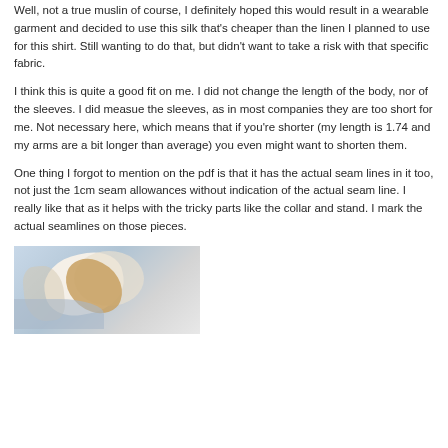Well, not a true muslin of course, I definitely hoped this would result in a wearable garment and decided to use this silk that's cheaper than the linen I planned to use for this shirt. Still wanting to do that, but didn't want to take a risk with that specific fabric.
I think this is quite a good fit on me. I did not change the length of the body, nor of the sleeves. I did measue the sleeves, as in most companies they are too short for me. Not necessary here, which means that if you're shorter (my length is 1.74 and my arms are a bit longer than average) you even might want to shorten them.
One thing I forgot to mention on the pdf is that it has the actual seam lines in it too, not just the 1cm seam allowances without indication of the actual seam line. I really like that as it helps with the tricky parts like the collar and stand. I mark the actual seamlines on those pieces.
[Figure (photo): Partial photo of a fabric/garment with white, blue, and golden-orange colors, appearing to show a shirt or collar piece laid out]